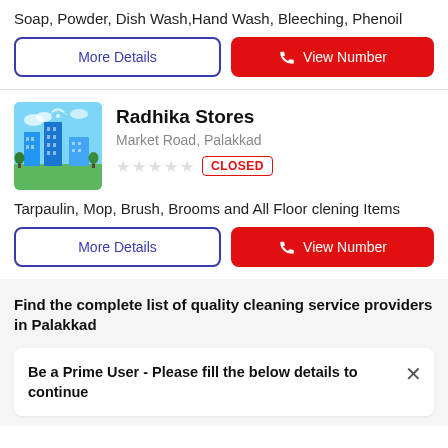Soap, Powder, Dish Wash,Hand Wash, Bleeching, Phenoil
More Details
View Number
Radhika Stores
Market Road, Palakkad
CLOSED
Tarpaulin, Mop, Brush, Brooms and All Floor clening Items
More Details
View Number
Find the complete list of quality cleaning service providers in Palakkad
Be a Prime User - Please fill the below details to continue